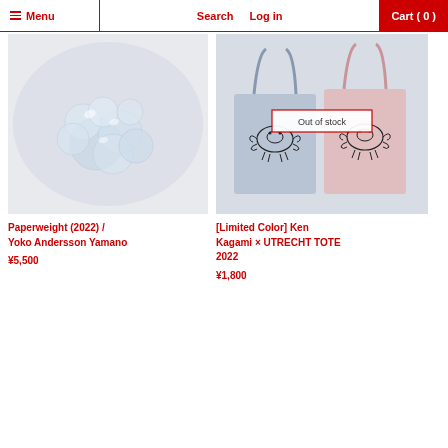Menu  Search  Log in  Cart (0)
[Figure (photo): Clear glass/crystal paperweight objects clustered together on a light background]
Paperweight (2022) / Yoko Andersson Yamano
¥5,500
[Figure (photo): Two tote bags (blue and pink) with crab illustrations, labeled Out of stock]
[Limited Color] Ken Kagami × UTRECHT TOTE 2022
¥1,800